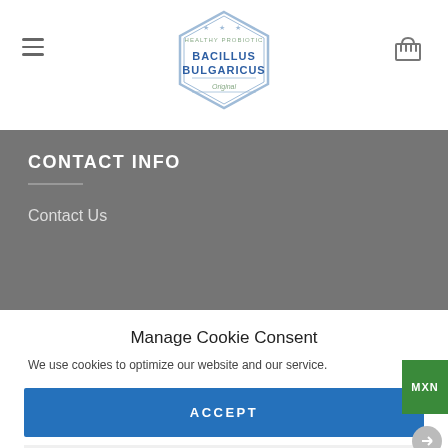[Figure (screenshot): Bacillus Bulgaricus logo - hexagonal badge with text BACILLUS BULGARICUS Original]
Navigation bar with hamburger menu, Bacillus Bulgaricus logo, and basket icon
CONTACT INFO
Contact Us
Manage Cookie Consent
We use cookies to optimize our website and our service.
ACCEPT
DENY
PREFERENCES